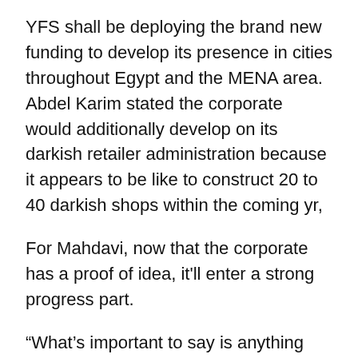YFS shall be deploying the brand new funding to develop its presence in cities throughout Egypt and the MENA area. Abdel Karim stated the corporate would additionally develop on its darkish retailer administration because it appears to be like to construct 20 to 40 darkish shops within the coming yr,
For Mahdavi, now that the corporate has a proof of idea, it'll enter a strong progress part.
“What’s important to say is anything that has to do with quick commerce or instant delivery requires a new form of infrastructure on the ground to be close to your customers, technology, operations,” he stated. “All of that is radically different from the type of infrastructure we saw when we were not dealing with quick commerce. But now this is what it is all about for YFS, to become the main player and the